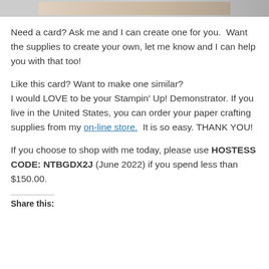[Figure (photo): Partial image visible at top of page, cropped card craft photo]
Need a card? Ask me and I can create one for you.  Want the supplies to create your own, let me know and I can help you with that too!
Like this card? Want to make one similar?
I would LOVE to be your Stampin' Up! Demonstrator. If you live in the United States, you can order your paper crafting supplies from my on-line store.  It is so easy. THANK YOU!
If you choose to shop with me today, please use HOSTESS CODE: NTBGDX2J (June 2022) if you spend less than $150.00.
Share this: